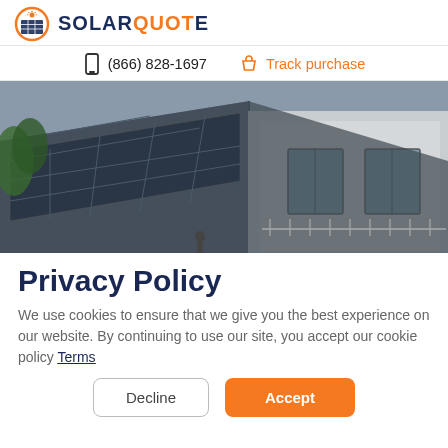SOLAR QUOTE logo
(866) 828-1697   Track purchase
[Figure (photo): Aerial view of a house rooftop covered with dark solar panels, with a white dormer window and balcony visible]
Privacy Policy
We use cookies to ensure that we give you the best experience on our website. By continuing to use our site, you accept our cookie policy Terms
Decline   Accept